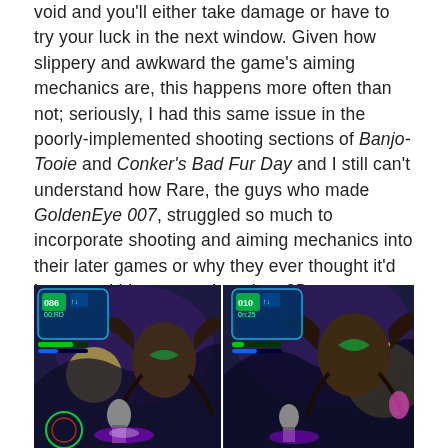void and you'll either take damage or have to try your luck in the next window. Given how slippery and awkward the game's aiming mechanics are, this happens more often than not; seriously, I had this same issue in the poorly-implemented shooting sections of Banjo-Tooie and Conker's Bad Fur Day and I still can't understand how Rare, the guys who made GoldenEye 007, struggled so much to incorporate shooting and aiming mechanics into their later games or why they ever thought it'd be a good idea to put them into 3D action/platformers and it really makes these boss battles far more frustrating than they need to be.
[Figure (screenshot): Two side-by-side screenshots from a 3D action/platformer video game showing a boss battle scene. The scenes feature a dark purple background with a large moon, two demonic-looking boss characters with wings and claws, and a player character in the foreground. HUD elements including health bars and score displays are visible in the upper portions of each screenshot.]